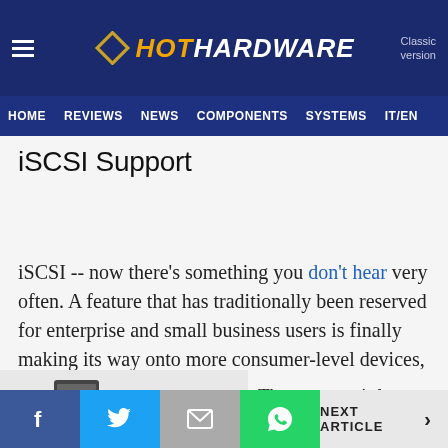HotHardware — Classic version
HOME  REVIEWS  NEWS  COMPONENTS  SYSTEMS  IT/EN
iSCSI Support
iSCSI -- now there's something you don't hear very often. A feature that has traditionally been reserved for enterprise and small business users is finally making its way onto more consumer-level devices, first with Data Robotics' DroboPro and now with QNAP's TS-239.
The company's latest Atom-
NEXT ARTICLE